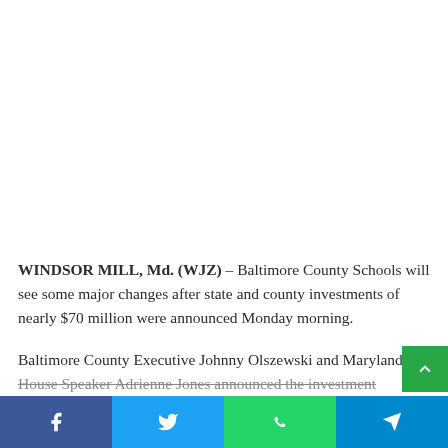WINDSOR MILL, Md. (WJZ) – Baltimore County Schools will see some major changes after state and county investments of nearly $70 million were announced Monday morning.
Baltimore County Executive Johnny Olszewski and Maryland House Speaker Adrienne Jones announced the investment...